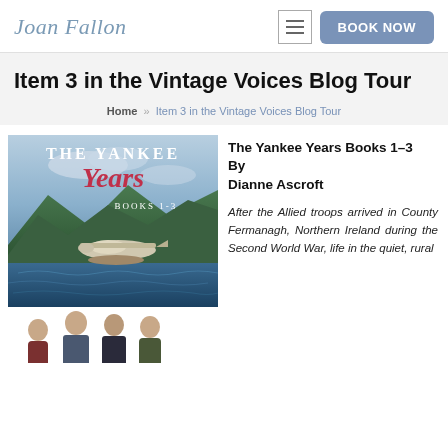Joan Fallon
Item 3 in the Vintage Voices Blog Tour
Home » Item 3 in the Vintage Voices Blog Tour
[Figure (photo): Book cover of The Yankee Years Books 1-3 showing a seaplane on water and four people standing in front of a scenic countryside backdrop]
The Yankee Years Books 1–3
By
Dianne Ascroft

After the Allied troops arrived in County Fermanagh, Northern Ireland during the Second World War, life in the quiet, rural